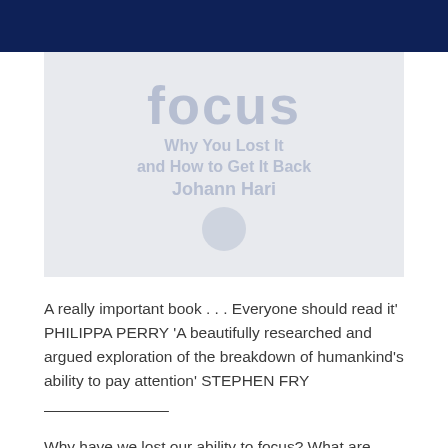[Figure (illustration): Book cover image showing the word 'focus' in large faded blue-grey text with additional subtitle and author text below, set against a light grey background, with a dark navy bar at the top.]
A really important book . . . Everyone should read it' PHILIPPA PERRY 'A beautifully researched and argued exploration of the breakdown of humankind's ability to pay attention' STEPHEN FRY ___________________________
Why have we lost our ability to focus? What are